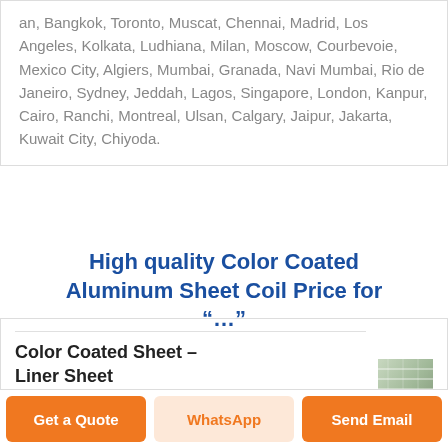an, Bangkok, Toronto, Muscat, Chennai, Madrid, Los Angeles, Kolkata, Ludhiana, Milan, Moscow, Courbevoie, Mexico City, Algiers, Mumbai, Granada, Navi Mumbai, Rio de Janeiro, Sydney, Jeddah, Lagos, Singapore, London, Kanpur, Cairo, Ranchi, Montreal, Ulsan, Calgary, Jaipur, Jakarta, Kuwait City, Chiyoda.
High quality Color Coated Aluminum Sheet Coil Price for …
Color Coated Sheet - Liner Sheet Manufacturer .
Widely used for …
Get a Quote
WhatsApp
Send Email